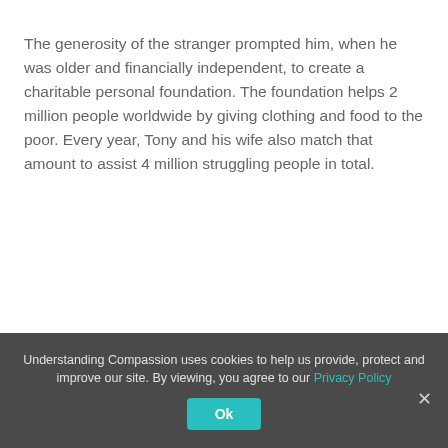The generosity of the stranger prompted him, when he was older and financially independent, to create a charitable personal foundation. The foundation helps 2 million people worldwide by giving clothing and food to the poor. Every year, Tony and his wife also match that amount to assist 4 million struggling people in total.
Understanding Compassion uses cookies to help us provide, protect and improve our site. By viewing, you agree to our Privacy Policy Ok ×